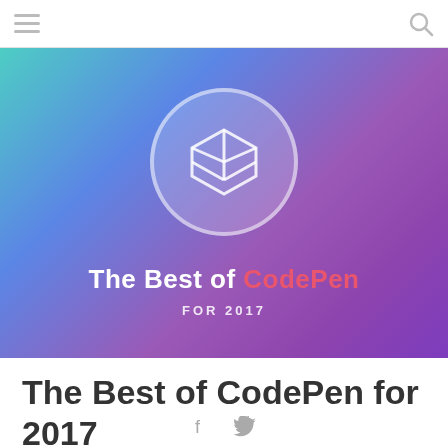[Figure (illustration): Hero banner with gradient background from teal to purple. Contains a CodePen logo (3D box icon) inside a white-bordered circle. Text reads 'The Best of CodePen FOR 2017' in white and pink.]
The Best of CodePen for 2017
[Figure (illustration): Social media icons: Facebook (f) and Twitter (bird) in grey]